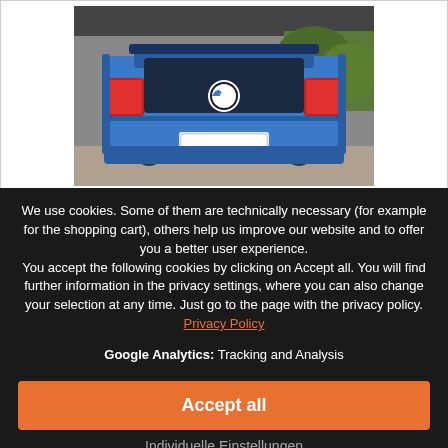[Figure (photo): Rear view of a blue BMW car parked under a carport]
We use cookies. Some of them are technically necessary (for example for the shopping cart), others help us improve our website and to offer you a better user experience.
You accept the following cookies by clicking on Accept all. You will find further information in the privacy settings, where you can also change your selection at any time. Just go to the page with the privacy policy. Privacy Policy
Google Analytics: Tracking and Analysis
Accept all
Individuelle Einstellungen